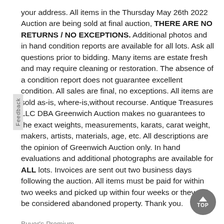your address. All items in the Thursday May 26th 2022 Auction are being sold at final auction, THERE ARE NO RETURNS / NO EXCEPTIONS. Additional photos and in hand condition reports are available for all lots. Ask all questions prior to bidding. Many items are estate fresh and may require cleaning or restoration. The absence of a condition report does not guarantee excellent condition. All sales are final, no exceptions. All items are sold as-is, where-is,without recourse. Antique Treasures LLC DBA Greenwich Auction makes no guarantees to the exact weights, measurements, karats, carat weight, makers, artists, materials, age, etc. All descriptions are the opinion of Greenwich Auction only. In hand evaluations and additional photographs are available for ALL lots. Invoices are sent out two business days following the auction. All items must be paid for within two weeks and picked up within four weeks or they will be considered abandoned property. Thank you.
Buyer's Premium
28%